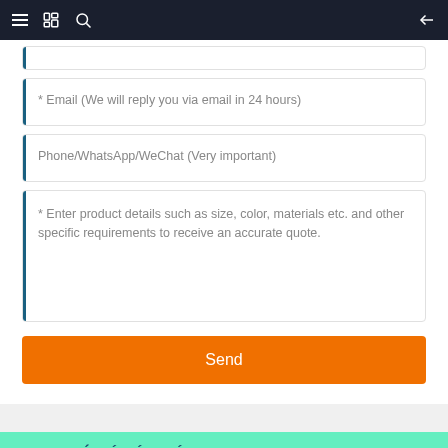Navigation bar with menu, bookmark, search icons and back arrow
* Email (We will reply you via email in 24 hours)
Phone/WhatsApp/WeChat (Very important)
* Enter product details such as size, color, materials etc. and other specific requirements to receive an accurate quote.
Send
CATAGÓIRÍ TÁIRGÍ